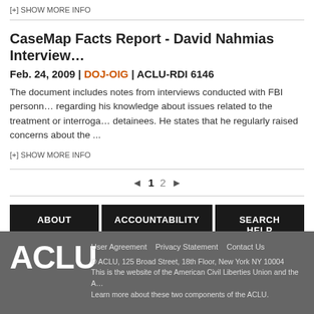[+] SHOW MORE INFO
CaseMap Facts Report - David Nahmias Interview
Feb. 24, 2009 | DOJ-OIG | ACLU-RDI 6146
The document includes notes from interviews conducted with FBI personnel regarding his knowledge about issues related to the treatment or interrogation of detainees. He states that he regularly raised concerns about the ...
[+] SHOW MORE INFO
◄ 1 2 ►
ABOUT
ACCOUNTABILITY
SEARCH HELP
ACLU User Agreement  Privacy Statement  Contact Us  © ACLU, 125 Broad Street, 18th Floor, New York NY 10004  This is the website of the American Civil Liberties Union and the A... Learn more about these two components of the ACLU.